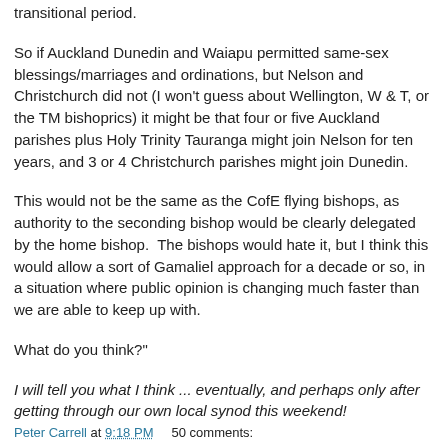transitional period.
So if Auckland Dunedin and Waiapu permitted same-sex blessings/marriages and ordinations, but Nelson and Christchurch did not (I won't guess about Wellington, W & T, or the TM bishoprics) it might be that four or five Auckland parishes plus Holy Trinity Tauranga might join Nelson for ten years, and 3 or 4 Christchurch parishes might join Dunedin.
This would not be the same as the CofE flying bishops, as authority to the seconding bishop would be clearly delegated by the home bishop.  The bishops would hate it, but I think this would allow a sort of Gamaliel approach for a decade or so, in a situation where public opinion is changing much faster than we are able to keep up with.
What do you think?"
I will tell you what I think ... eventually, and perhaps only after getting through our own local synod this weekend!
Peter Carrell at 9:18 PM    50 comments: